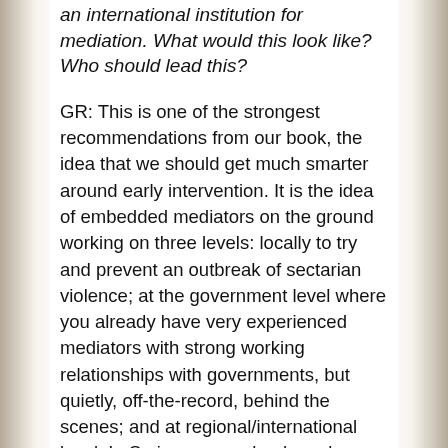an international institution for mediation. What would this look like? Who should lead this?
GR: This is one of the strongest recommendations from our book, the idea that we should get much smarter around early intervention. It is the idea of embedded mediators on the ground working on three levels: locally to try and prevent an outbreak of sectarian violence; at the government level where you already have very experienced mediators with strong working relationships with governments, but quietly, off-the-record, behind the scenes; and at regional/international level. In Syria we saw clearly early on, that it was a proxy war between Syria and Iran for Sunni-Shi'a regional dominance. If we had systems of mediators who were experienced, who had pre-existing relationships with Saudi Arabia and Iran, early on, there could have been processes to